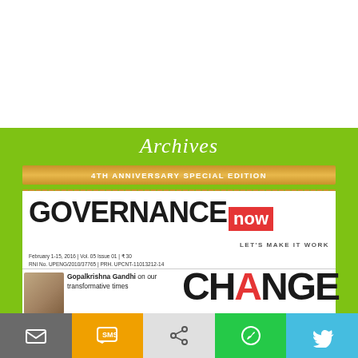Archives
4TH ANNIVERSARY SPECIAL EDITION
[Figure (logo): Governance Now magazine logo with 'GOVERNANCE' in bold black and 'now' in white on red background, tagline 'LET'S MAKE IT WORK']
February 1-15, 2016 | Vol. 05 Issue 01 | ₹ 30 | RNI No. UPENG/2010/37765 | PRH. UPCNT-11013212-14 | www.governancenow.com
[Figure (photo): Small portrait photo of Gopalkrishna Gandhi]
Gopalkrishna Gandhi on our transformative times
CHANGE
[Figure (infographic): Social sharing toolbar with email, SMS, share, WhatsApp, and Twitter icons]